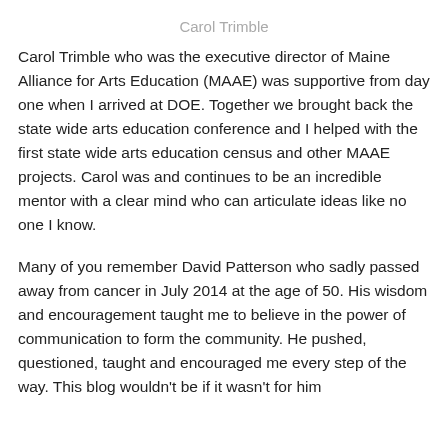Carol Trimble
Carol Trimble who was the executive director of Maine Alliance for Arts Education (MAAE) was supportive from day one when I arrived at DOE. Together we brought back the state wide arts education conference and I helped with the first state wide arts education census and other MAAE projects. Carol was and continues to be an incredible mentor with a clear mind who can articulate ideas like no one I know.
Many of you remember David Patterson who sadly passed away from cancer in July 2014 at the age of 50. His wisdom and encouragement taught me to believe in the power of communication to form the community. He pushed, questioned, taught and encouraged me every step of the way. This blog wouldn't be if it wasn't for him